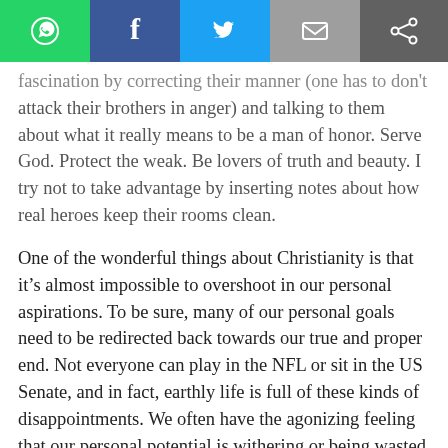[Figure (other): Social sharing toolbar with WhatsApp, Facebook, Twitter, Email, and Share buttons]
fascination by correcting their manner (one has to don't attack their brothers in anger) and talking to them about what it really means to be a man of honor. Serve God. Protect the weak. Be lovers of truth and beauty. I try not to take advantage by inserting notes about how real heroes keep their rooms clean.
One of the wonderful things about Christianity is that it’s almost impossible to overshoot in our personal aspirations. To be sure, many of our personal goals need to be redirected back towards our true and proper end. Not everyone can play in the NFL or sit in the US Senate, and in fact, earthly life is full of these kinds of disappointments. We often have the agonizing feeling that our personal potential is withering or being wasted on